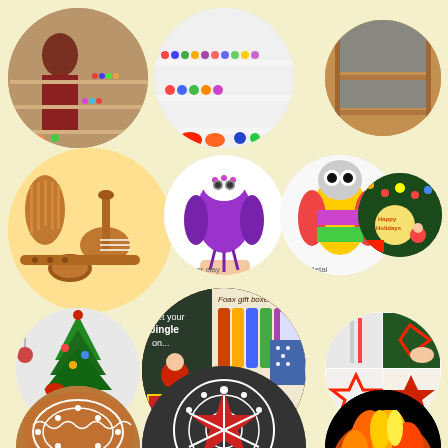[Figure (photo): Collage of circular photos showing holiday/festival crafts and decorations: woman with collectible dolls on shelves, colorful figurines display, empty wooden shelf, gingerbread musical instruments cookies, owl jewelry pieces (polymer clay and metal), Christmas tree ornaments and decorations, small Christmas tree with gifts, chalkboard sign and holiday wrapping, faax gift boxes craft tutorial with materials, red star ornament step-by-step tutorial, kolam/rangoli floor art, floral rangoli pattern, glowing fire/light display]
Holiday and festival crafts collage including collectible dolls, gingerbread cookies, jewelry, Christmas decorations, gift wrapping tutorials, and rangoli art